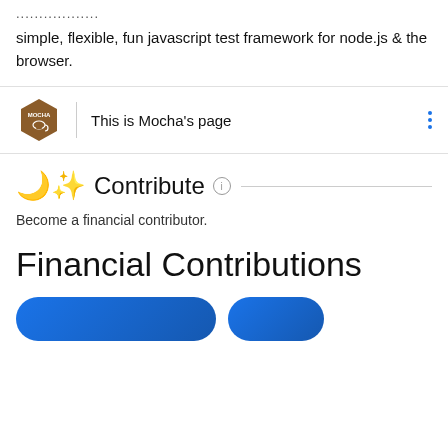..................
simple, flexible, fun javascript test framework for node.js & the browser.
[Figure (other): Mocha logo bar with hexagonal brown MOCHA logo, vertical divider, text 'This is Mocha's page', and three vertical blue dots menu icon]
Contribute
Become a financial contributor.
Financial Contributions
[Figure (other): Two blue rounded-rectangle buttons partially visible at the bottom of the page]